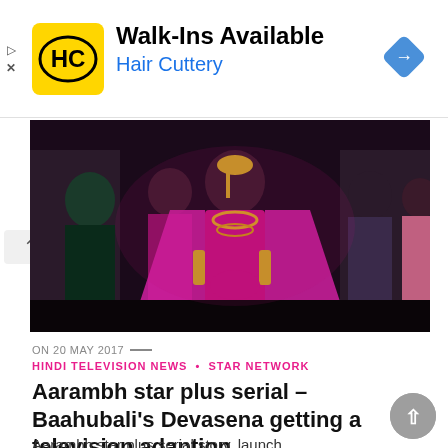[Figure (other): Hair Cuttery advertisement banner with yellow HC logo, Walk-Ins Available text, and navigation arrow icon]
[Figure (photo): A woman dressed in traditional Indian bridal attire with pink/magenta outfit and gold jewelry, surrounded by other women, from the Aarambh TV serial]
ON 20 MAY 2017 —
HINDI TELEVISION NEWS • STAR NETWORK
Aarambh star plus serial – Baahubali's Devasena getting a television adaption
Aarambh star plus serial story, launch